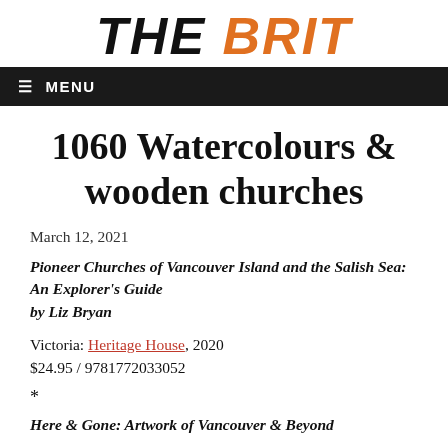THE BRIT
≡ MENU
1060 Watercolours & wooden churches
March 12, 2021
Pioneer Churches of Vancouver Island and the Salish Sea: An Explorer's Guide
by Liz Bryan
Victoria: Heritage House, 2020
$24.95 / 9781772033052
*
Here & Gone: Artwork of Vancouver & Beyond